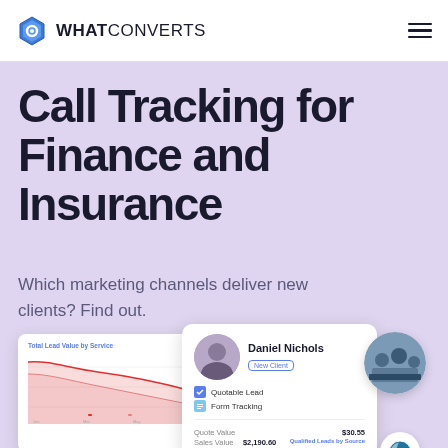[Figure (logo): WhatConverts logo with hexagon icon and company name]
Call Tracking for Finance and Insurance
Which marketing channels deliver new clients? Find out.
[Figure (screenshot): Dashboard screenshot showing Total Lead Value by Service area chart, a client profile card for Daniel Nichols with New Client badge, Quotable Lead and Form Tracking fields, Quote Value $30.55, Sales Value $2,190.60, Qualified Leads by Source section, Google logo bubble, WordPress logo bubble, and a circular business photo of people at a desk]
| Quote Value | $30.55 |
| --- | --- |
| Sales Value | $2,190.60 |
Qualified Leads by Source